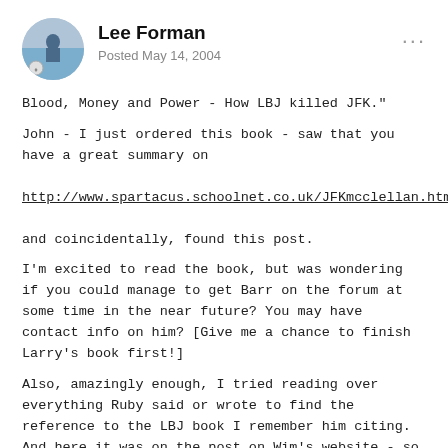Lee Forman
Posted May 14, 2004
Blood, Money and Power - How LBJ killed JFK."
John - I just ordered this book - saw that you have a great summary on
http://www.spartacus.schoolnet.co.uk/JFKmcclellan.htm,
and coincidentally, found this post.
I'm excited to read the book, but was wondering if you could manage to get Barr on the forum at some time in the near future? You may have contact info on him? [Give me a chance to finish Larry's book first!]
Also, amazingly enough, I tried reading over everything Ruby said or wrote to find the reference to the LBJ book I remember him citing. And here it was on the post on Wim's website - so now I have to order that one as well [A Texan Looks at Lyndon by J. Evetts Haley]. If Ruby recommended it, it's got to be worth the read.